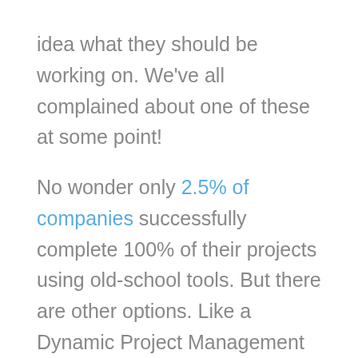idea what they should be working on. We've all complained about one of these at some point!
No wonder only 2.5% of companies successfully complete 100% of their projects using old-school tools. But there are other options. Like a Dynamic Project Management system, which recognizes projects as living, evolving constructs. Dynamic Project Management gives teams a fluid process, an adaptive methodology, and a predictive, automated tool.  It plans and schedules projects in a way that maps to the real world.